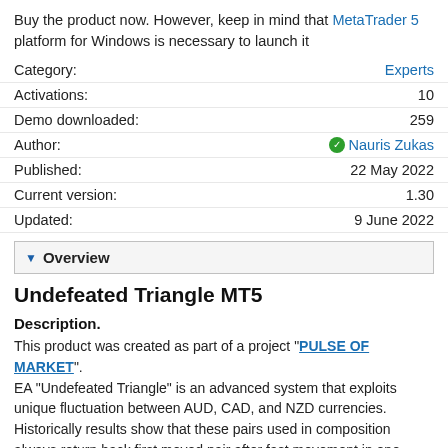Buy the product now. However, keep in mind that MetaTrader 5 platform for Windows is necessary to launch it
| Label | Value |
| --- | --- |
| Category: | Experts |
| Activations: | 10 |
| Demo downloaded: | 259 |
| Author: | Nauris Zukas |
| Published: | 22 May 2022 |
| Current version: | 1.30 |
| Updated: | 9 June 2022 |
▼ Overview
Undefeated Triangle MT5
Description.
This product was created as part of a project "PULSE OF MARKET". EA "Undefeated Triangle" is an advanced system that exploits unique fluctuation between AUD, CAD, and NZD currencies. Historically results show that these pairs used in composition always return back first moved pair after fast movement in one